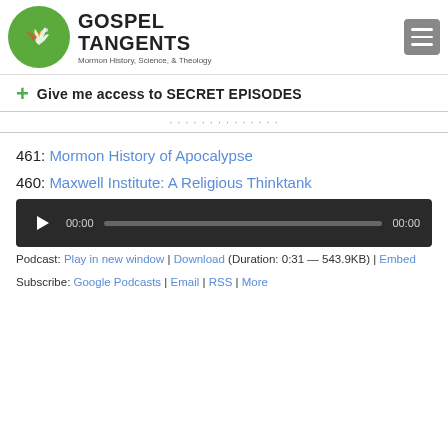[Figure (logo): Gospel Tangents logo: green circle with stylized dove/flame icon, brand name 'GOSPEL TANGENTS' and tagline 'Mormon History, Science, & Theology']
+ Give me access to SECRET EPISODES
461: Mormon History of Apocalypse
460: Maxwell Institute: A Religious Thinktank
[Figure (screenshot): Audio player with play button, time display 00:00, progress bar, and end time 00:00]
Podcast: Play in new window | Download (Duration: 0:31 — 543.9KB) | Embed
Subscribe: Google Podcasts | Email | RSS | More